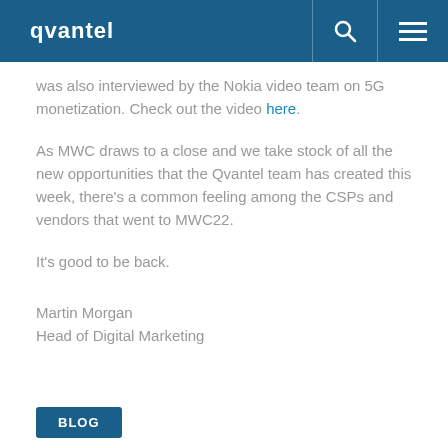qvantel
was also interviewed by the Nokia video team on 5G monetization. Check out the video here.
As MWC draws to a close and we take stock of all the new opportunities that the Qvantel team has created this week, there's a common feeling among the CSPs and vendors that went to MWC22.
It's good to be back.
Martin Morgan
Head of Digital Marketing
BLOG